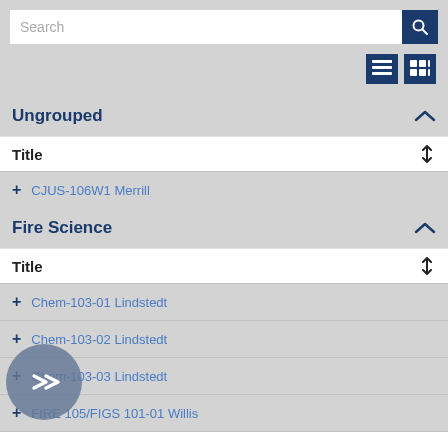Search
Ungrouped
Title
+ CJUS-106W1 Merrill
Fire Science
Title
+ Chem-103-01 Lindstedt
+ Chem-103-02 Lindstedt
+ Chem-103-03 Lindstedt
+ FIRE 105/FIGS 101-01 Willis